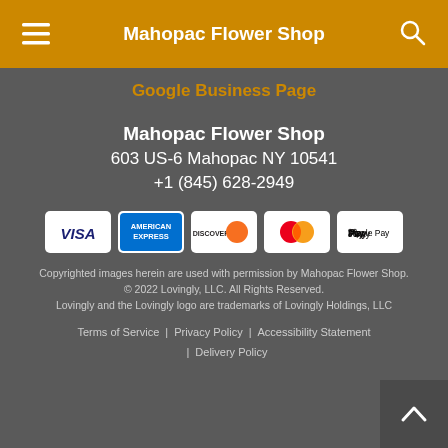Mahopac Flower Shop
Google Business Page
Mahopac Flower Shop
603 US-6 Mahopac NY 10541
+1 (845) 628-2949
[Figure (infographic): Payment method badges: VISA, American Express, Discover, Mastercard, Apple Pay]
Copyrighted images herein are used with permission by Mahopac Flower Shop.
© 2022 Lovingly, LLC. All Rights Reserved.
Lovingly and the Lovingly logo are trademarks of Lovingly Holdings, LLC
Terms of Service | Privacy Policy | Accessibility Statement | Delivery Policy